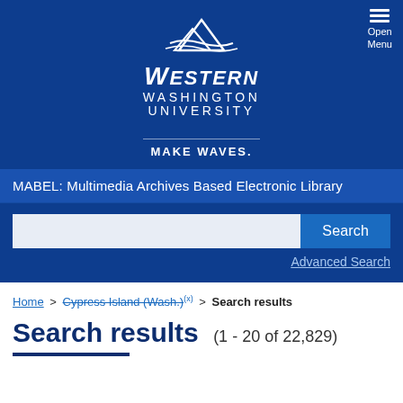[Figure (logo): Western Washington University logo with mountain graphic and text WESTERN WASHINGTON UNIVERSITY]
MAKE WAVES.
MABEL: Multimedia Archives Based Electronic Library
Search
Advanced Search
Home > Cypress Island (Wash.)(x) > Search results
Search results (1 - 20 of 22,829)